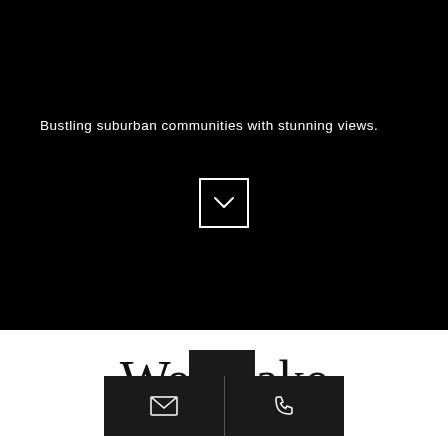[Figure (screenshot): Black hero section background covering the top portion of the page]
Bustling suburban communities with stunning views.
[Figure (illustration): Square button with white border containing a downward chevron arrow icon]
We…ake
[Figure (infographic): Dark contact bar with email icon and phone icon buttons side by side]